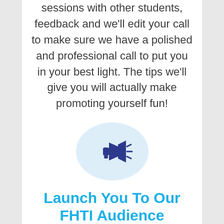sessions with other students, feedback and we'll edit your call to make sure we have a polished and professional call to put you in your best light. The tips we'll give you will actually make promoting yourself fun!
[Figure (illustration): Megaphone icon inside a light blue circle]
Launch You To Our FHTI Audience